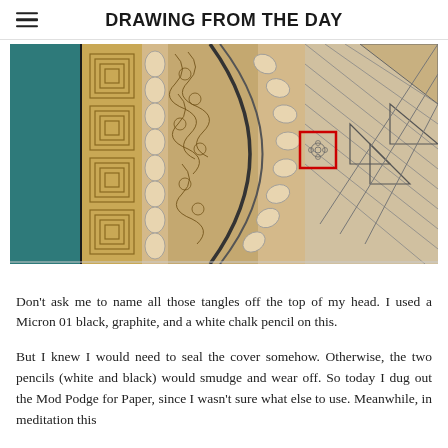DRAWING FROM THE DAY
[Figure (photo): Close-up photograph of a decorated book cover or journal featuring intricate zentangle/tangle patterns including geometric shapes, spirals, braided/woven lines, and hatching. The left side shows a teal/dark green fabric spine. Patterns are drawn in black and gold/tan tones on a cream background. A small red rectangle highlights a detail in the center-right area.]
Don't ask me to name all those tangles off the top of my head.  I used a Micron 01 black, graphite, and a white chalk pencil on this.
But I knew I would need to seal the cover somehow.  Otherwise, the two pencils (white and black) would smudge and wear off.  So today I dug out the Mod Podge for Paper, since I wasn't sure what else to use.  Meanwhile, in meditation this